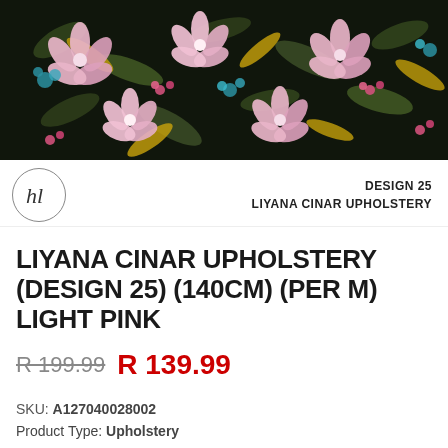[Figure (photo): Floral fabric pattern with pink blossoms, dark leaves, teal and gold accents on dark background — upholstery textile sample]
DESIGN 25 LIYANA CINAR UPHOLSTERY
LIYANA CINAR UPHOLSTERY (DESIGN 25) (140CM) (PER M) LIGHT PINK
R 199.99  R 139.99
SKU: A127040028002
Product Type: Upholstery